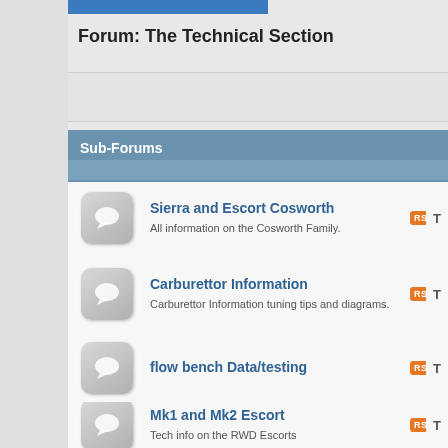Forum: The Technical Section
Sub-Forums
Sierra and Escort Cosworth – All information on the Cosworth Family.
Carburettor Information – Carburettor Information tuning tips and diagrams.
flow bench Data/testing
Mk1 and Mk2 Escort – Tech info on the RWD Escorts
X-Flow - Pinto - BDA and Twincam – Original Engines